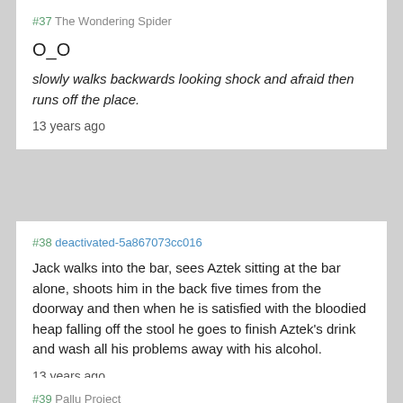#37 The Wondering Spider
O_O
slowly walks backwards looking shock and afraid then runs off the place.
13 years ago
#38 deactivated-5a867073cc016
Jack walks into the bar, sees Aztek sitting at the bar alone, shoots him in the back five times from the doorway and then when he is satisfied with the bloodied heap falling off the stool he goes to finish Aztek's drink and wash all his problems away with his alcohol.
13 years ago
#39 Pallu Project